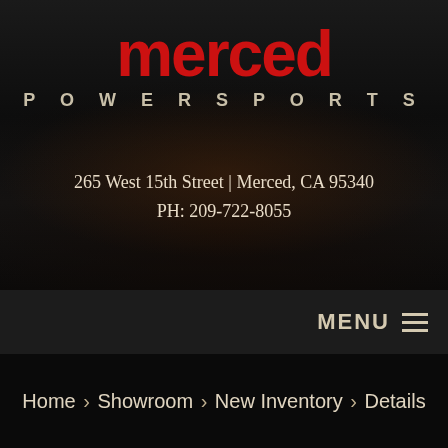[Figure (logo): Merced Powersports logo with red stylized text 'merced' and gray 'POWERSPORTS' subtitle]
265 West 15th Street | Merced, CA 95340
PH: 209-722-8055
MENU ☰
Home › Showroom › New Inventory › Details